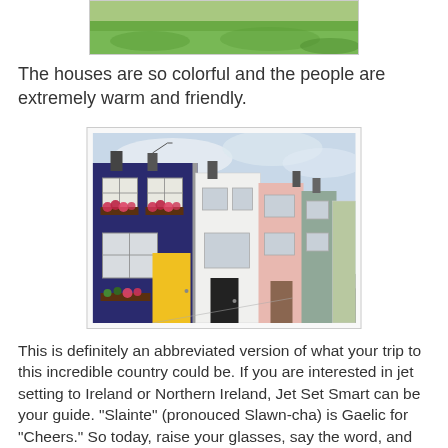[Figure (photo): Partial photo of green grass and hillside, cropped at top of page]
The houses are so colorful and the people are extremely warm and friendly.
[Figure (photo): Photo of a row of colorful terraced houses on a street in Ireland. The houses are painted dark navy blue, white, pink, teal, and other colors. The navy house has a bright yellow door and flower window boxes with red flowers.]
This is definitely an abbreviated version of what your trip to this incredible country could be. If you are interested in jet setting to Ireland or Northern Ireland, Jet Set Smart can be your guide. "Slainte" (pronouced Slawn-cha) is Gaelic for "Cheers." So today, raise your glasses, say the word, and toast to Ireland...HAPPY ST. PATRICK'S DAY!